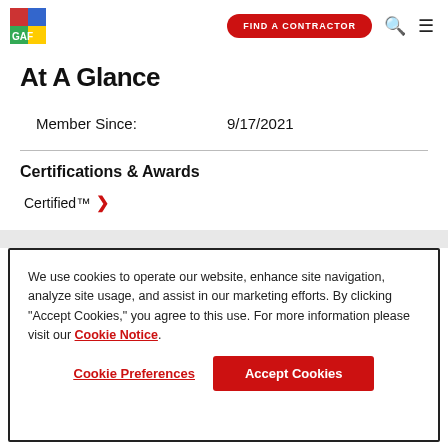GAF | FIND A CONTRACTOR
At A Glance
Member Since: 9/17/2021
Certifications & Awards
Certified™
We use cookies to operate our website, enhance site navigation, analyze site usage, and assist in our marketing efforts. By clicking "Accept Cookies," you agree to this use. For more information please visit our Cookie Notice.
Cookie Preferences | Accept Cookies